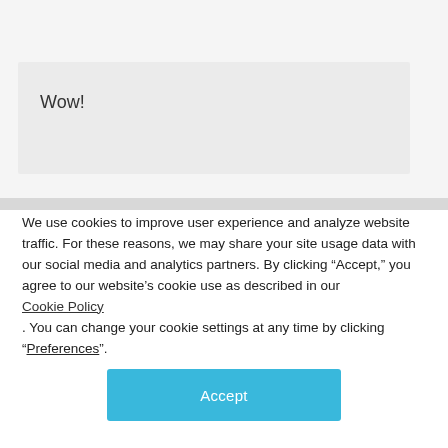Wow!
We use cookies to improve user experience and analyze website traffic. For these reasons, we may share your site usage data with our social media and analytics partners. By clicking “Accept,” you agree to our website’s cookie use as described in our Cookie Policy . You can change your cookie settings at any time by clicking “Preferences”.
Accept